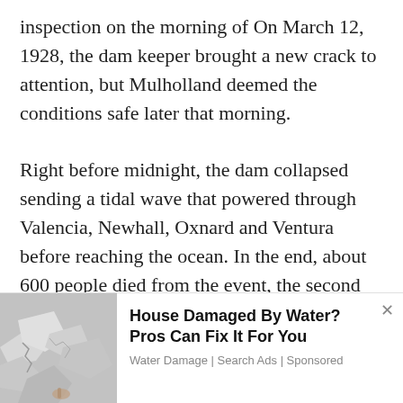inspection on the morning of On March 12, 1928, the dam keeper brought a new crack to attention, but Mulholland deemed the conditions safe later that morning.

Right before midnight, the dam collapsed sending a tidal wave that powered through Valencia, Newhall, Oxnard and Ventura before reaching the ocean. In the end, about 600 people died from the event, the second worst tragedy in the state behind the 1906 Earthquake. Mulholland retired the following year and spent his remaining...
[Figure (photo): Water damage photo showing crumbling wall plaster, used as advertisement image thumbnail]
House Damaged By Water? Pros Can Fix It For You
Water Damage | Search Ads | Sponsored